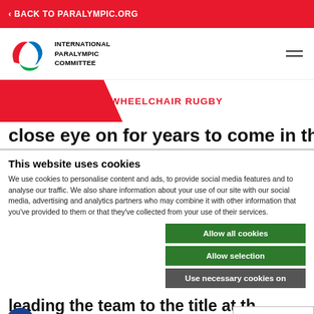< BACK TO PARALYMPIC.ORG
[Figure (logo): International Paralympic Committee logo with agitos symbol and text INTERNATIONAL PARALYMPIC COMMITTEE]
WHEELCHAIR RUGBY
close eye on for years to come in the 3.5
This website uses cookies
We use cookies to personalise content and ads, to provide social media features and to analyse our traffic. We also share information about your use of our site with our social media, advertising and analytics partners who may combine it with other information that you've provided to them or that they've collected from your use of their services.
Allow all cookies
Allow selection
Use necessary cookies on
leading the team to the title at th
Denmark Wheelchair Rugby Chall...
marketing
Show details